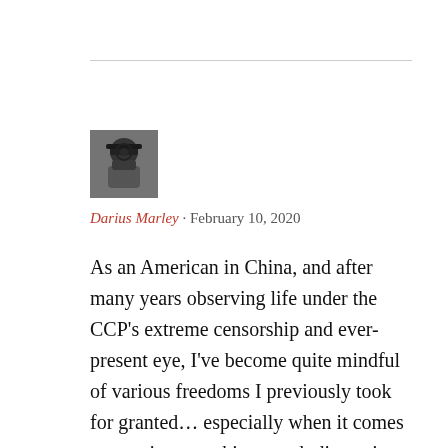[Figure (photo): Small avatar photo of a person, black and white, cropped close]
Darius Marley · February 10, 2020
As an American in China, and after many years observing life under the CCP's extreme censorship and ever-present eye, I've become quite mindful of various freedoms I previously took for granted… especially when it comes to art, since anything worth discussing will invariably lead to some form of controversy! Thank you for taking the time to share your views on Tatsuo Suzuki versus